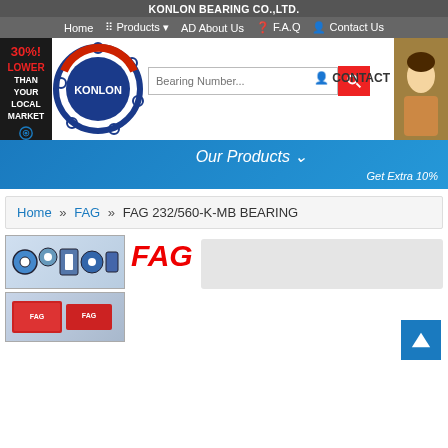KONLON BEARING CO.,LTD.
Home  Products  About Us  F.A.Q  Contact Us
[Figure (logo): Konlon Bearing Co. logo — circular bearing graphic with KONLON text in center, dark blue and red colors. Red sidebar with '30% LOWER THAN YOUR LOCAL MARKET']
Bearing Number...
CONTACT
Our Products
Get Extra 10%
Home » FAG » FAG 232/560-K-MB BEARING
[Figure (photo): FAG brand bearings product image — various bearings and bearing components displayed]
FAG
[Figure (photo): FAG bearings in red packaging — stacked boxes of FAG brand bearing products]